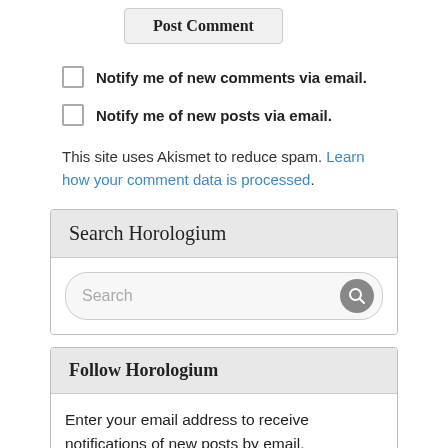Post Comment
Notify me of new comments via email.
Notify me of new posts via email.
This site uses Akismet to reduce spam. Learn how your comment data is processed.
Search Horologium
Search
Follow Horologium
Enter your email address to receive notifications of new posts by email.
Enter your email address